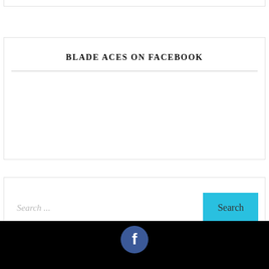BLADE ACES ON FACEBOOK
[Figure (screenshot): Search bar with placeholder text 'Search ...' and a cyan 'Search' button]
[Figure (logo): Facebook icon in white on dark blue circle, displayed in black footer bar]